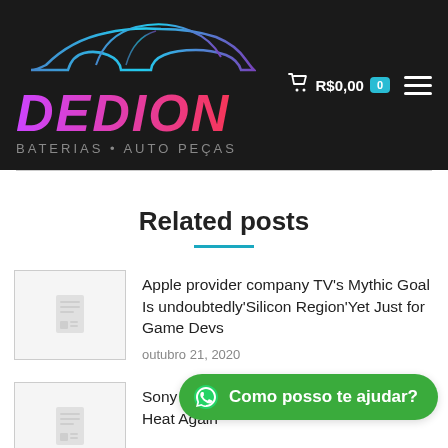[Figure (logo): Dedion Baterias Auto Peças logo with car silhouette on dark background, brand name in purple-to-red gradient italic text]
Related posts
Apple provider company TV's Mythic Goal Is undoubtedly'Silicon Region'Yet Just for Game Devs
outubro 21, 2020
Sony Du... Heat Again
[Figure (screenshot): WhatsApp chat button: green pill button with WhatsApp icon and text 'Como posso te ajudar?']